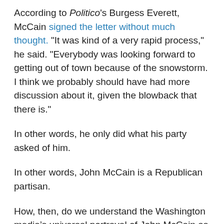According to Politico's Burgess Everett, McCain signed the letter without much thought. "It was kind of a very rapid process," he said. "Everybody was looking forward to getting out of town because of the snowstorm. I think we probably should have had more discussion about it, given the blowback that there is."
In other words, he only did what his party asked of him.
In other words, John McCain is a Republican partisan.
How, then, do we understand the Washington media’s universal portrayal of John McCain as a “maverick”? Waldman says it comes from mastering the art of flattery. McCain, he says, “spent a couple of decades massaging their egos and convincing them that he was their best buddy, an investment that paid off splendidly.”